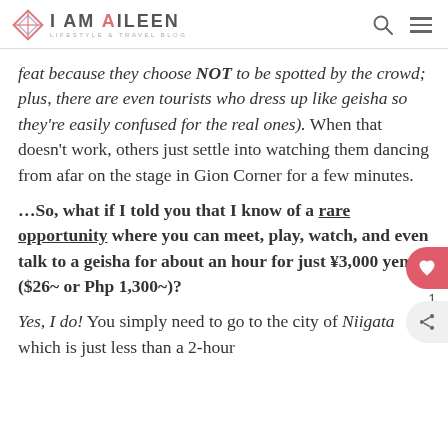i AM AiLEEN LIFESTYLE & TRAVEL BLOG
feat because they choose NOT to be spotted by the crowd; plus, there are even tourists who dress up like geisha so they're easily confused for the real ones). When that doesn't work, others just settle into watching them dancing from afar on the stage in Gion Corner for a few minutes.
...So, what if I told you that I know of a rare opportunity where you can meet, play, watch, and even talk to a geisha for about an hour for just ¥3,000 yen ($26~ or Php 1,300~)?
Yes, I do! You simply need to go to the city of Niigata which is just less than a 2-hour